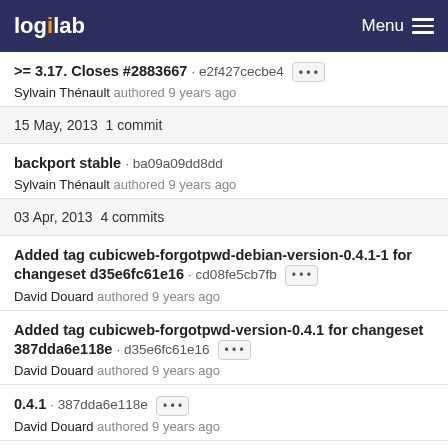logilab  Menu
>= 3.17. Closes #2883667 · e2f427cecbe4 ... Sylvain Thénault authored 9 years ago
15 May, 2013 1 commit
backport stable · ba09a09dd8dd Sylvain Thénault authored 9 years ago
03 Apr, 2013 4 commits
Added tag cubicweb-forgotpwd-debian-version-0.4.1-1 for changeset d35e6fc61e16 · cd08fe5cb7fb ... David Douard authored 9 years ago
Added tag cubicweb-forgotpwd-version-0.4.1 for changeset 387dda6e118e · d35e6fc61e16 ... David Douard authored 9 years ago
0.4.1 · 387dda6e118e ... David Douard authored 9 years ago